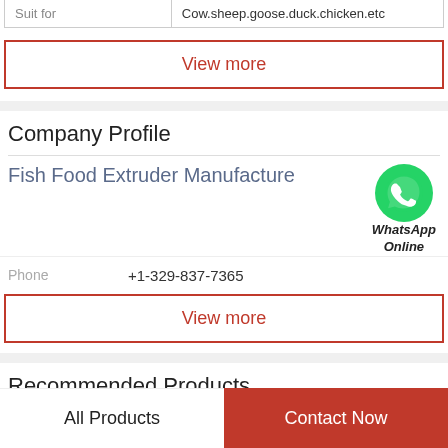| Suit for | Cow.sheep.goose.duck.chicken.etc |
| --- | --- |
View more
Company Profile
Fish Food Extruder Manufacture
[Figure (illustration): WhatsApp green phone icon with text 'WhatsApp Online' in italic below]
Phone   +1-329-837-7365
View more
Recommended Products
[Figure (illustration): Yellow arch/banner shape partially visible at bottom of page]
All Products   Contact Now